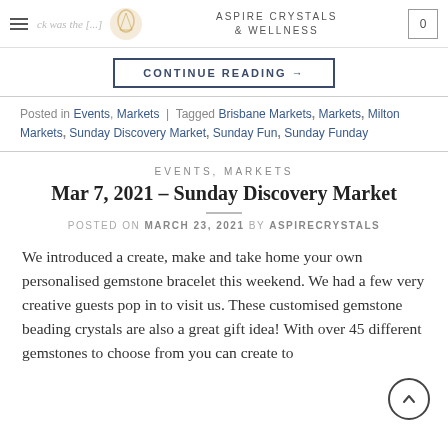ASPIRE CRYSTALS & WELLNESS | 0
CONTINUE READING →
Posted in Events, Markets | Tagged Brisbane Markets, Markets, Milton Markets, Sunday Discovery Market, Sunday Fun, Sunday Funday
EVENTS, MARKETS
Mar 7, 2021 – Sunday Discovery Market
POSTED ON MARCH 23, 2021 BY ASPIRECRYSTALS
We introduced a create, make and take home your own personalised gemstone bracelet this weekend. We had a few very creative guests pop in to visit us. These customised gemstone beading crystals are also a great gift idea! With over 45 different gemstones to choose from you can create to